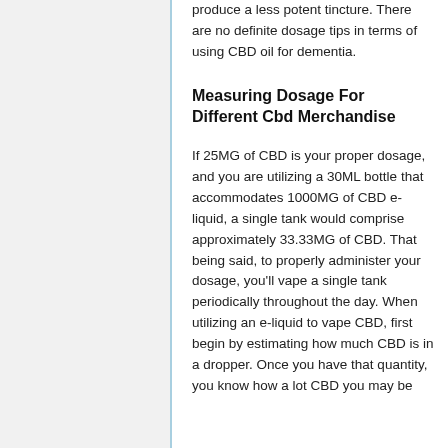produce a less potent tincture. There are no definite dosage tips in terms of using CBD oil for dementia.
Measuring Dosage For Different Cbd Merchandise
If 25MG of CBD is your proper dosage, and you are utilizing a 30ML bottle that accommodates 1000MG of CBD e-liquid, a single tank would comprise approximately 33.33MG of CBD. That being said, to properly administer your dosage, you'll vape a single tank periodically throughout the day. When utilizing an e-liquid to vape CBD, first begin by estimating how much CBD is in a dropper. Once you have that quantity, you know how a lot CBD you may be